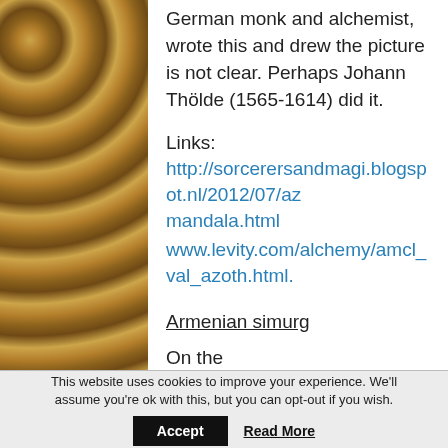German monk and alchemist, wrote this and drew the picture is not clear. Perhaps Johann Thölde (1565-1614) did it.
Links:
http://sorcerersandmagi.blogspot.nl/2012/07/az mandala.html
www.levity.com/alchemy/amcl_val_azoth.html.
Armenian simurg
On the
http://virtualani.org/tigranhonents/index.htm
This website uses cookies to improve your experience. We'll assume you're ok with this, but you can opt-out if you wish.